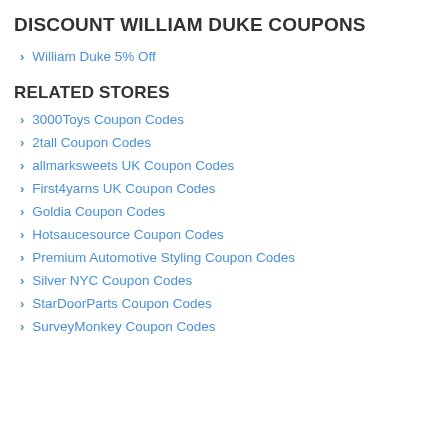DISCOUNT WILLIAM DUKE COUPONS
William Duke 5% Off
RELATED STORES
3000Toys Coupon Codes
2tall Coupon Codes
allmarksweets UK Coupon Codes
First4yarns UK Coupon Codes
Goldia Coupon Codes
Hotsaucesource Coupon Codes
Premium Automotive Styling Coupon Codes
Silver NYC Coupon Codes
StarDoorParts Coupon Codes
SurveyMonkey Coupon Codes